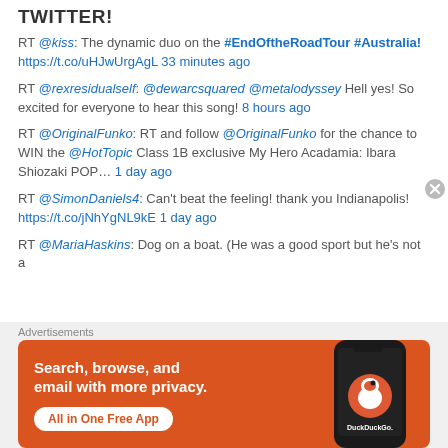TWITTER!
RT @kiss: The dynamic duo on the #EndOftheRoadTour #Australia! https://t.co/uHJwUrgAgL 33 minutes ago
RT @rexresidualself: @dewarcsquared @metalodyssey Hell yes! So excited for everyone to hear this song! 8 hours ago
RT @OriginalFunko: RT and follow @OriginalFunko for the chance to WIN the @HotTopic Class 1B exclusive My Hero Acadamia: Ibara Shiozaki POP… 1 day ago
RT @SimonDaniels4: Can't beat the feeling! thank you Indianapolis! https://t.co/jNhYgNL9kE 1 day ago
RT @MariaHaskins: Dog on a boat. (He was a good sport but he's not a
Advertisements
[Figure (infographic): DuckDuckGo advertisement banner: orange background with phone device on right, text 'Search, browse, and email with more privacy. All in One Free App' with DuckDuckGo logo]